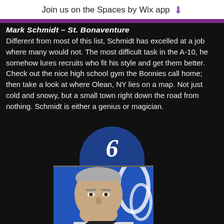Join us on the Spaces by Wix app ↓
Mark Schmidt – St. Bonaventure
Different from most of this list, Schmidt has excelled at a job where many would not. The most difficult task in the A-10, he somehow lures recruits who fit his style and get them better. Check out the nice high school gym the Bonnies call home; then take a look at where Olean, NY lies on a map. Not just cold and snowy, but a small town right down the road from nothing. Schmidt is either a genius or magician.
[Figure (photo): Number 6 badge with blue rounded top containing the numeral 6, below which is a photo of a middle-aged man with gray hair against a blue and white patterned background.]